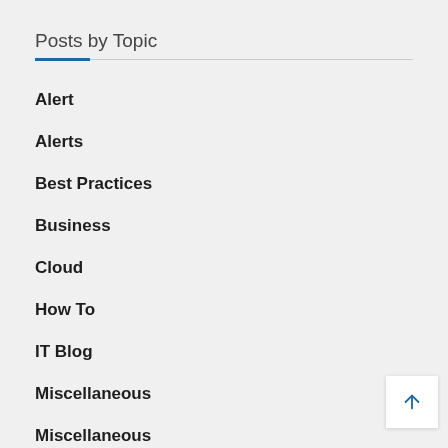Posts by Topic
Alert
Alerts
Best Practices
Business
Cloud
How To
IT Blog
Miscellaneous
Miscellaneous
Security
SBS Network Bl…